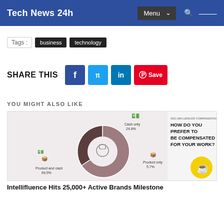Tech News 24h
Tags :   business   technology
SHARE THIS
YOU MIGHT ALSO LIKE
[Figure (infographic): Donut chart showing influencer compensation preferences: Product and cash 69.5%, Cash only 24.8%, Product only 5.7%. Title: 2021 INFLUENCER COMPENSATION REPORT - HOW DO YOU PREFER TO BE COMPENSATED FOR YOUR WORK?]
Intellifluence Hits 25,000+ Active Brands Milestone